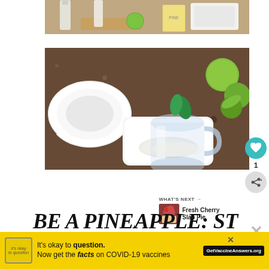[Figure (photo): Top portion of a kitchen countertop scene with bottles, a lime, and a pineapple can on a cutting board]
[Figure (photo): Kitchen scene with a glass jar being dipped into a plate of salt or sugar, with limes in the background on a granite countertop]
1
WHAT'S NEXT → Fresh Cherry Slab Pie
BE A PINEAPPLE: ST
TALL, WEAR A CROWN, AND
It's okay to question. Now get the facts on COVID-19 vaccines GetVaccineAnswers.org